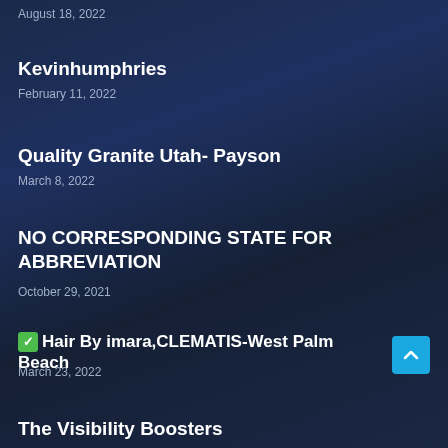August 18, 2022
Kevinhumphries
February 11, 2022
Quality Granite Utah- Payson
March 8, 2022
NO CORRESPONDING STATE FOR ABBREVIATION
October 29, 2021
✅ Hair By imara,CLEMATIS-West Palm Beach
March 23, 2022
The Visibility Boosters